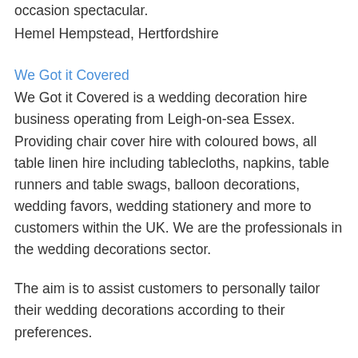occasion spectacular.
Hemel Hempstead, Hertfordshire
We Got it Covered
We Got it Covered is a wedding decoration hire business operating from Leigh-on-sea Essex. Providing chair cover hire with coloured bows, all table linen hire including tablecloths, napkins, table runners and table swags, balloon decorations, wedding favors, wedding stationery and more to customers within the UK. We are the professionals in the wedding decorations sector.
The aim is to assist customers to personally tailor their wedding decorations according to their preferences.